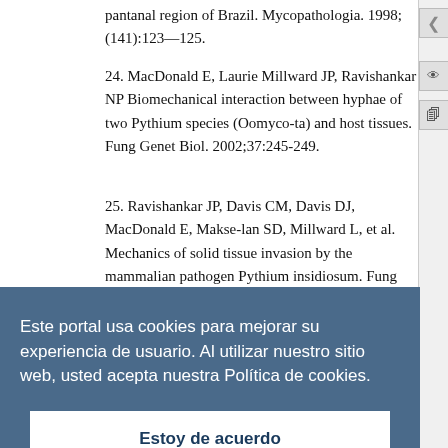pantanal region of Brazil. Mycopathologia. 1998; (141):123—125.
24. MacDonald E, Laurie Millward JP, Ravishankar NP Biomechanical interaction between hyphae of two Pythium species (Oomyco-ta) and host tissues. Fung Genet Biol. 2002;37:245-249.
25. Ravishankar JP, Davis CM, Davis DJ, MacDonald E, Makse-lan SD, Millward L, et al. Mechanics of solid tissue invasion by the mammalian pathogen Pythium insidiosum. Fung Genet Biol.
Este portal usa cookies para mejorar su experiencia de usuario. Al utilizar nuestro sitio web, usted acepta nuestra Política de cookies.
Estoy de acuerdo
the humoral immune response to Pythium insidiosum in horses